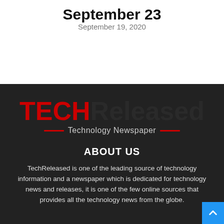September 23
September 19, 2020
[Figure (logo): TechReleased Technology Newspaper logo — 'TECH' in red bold, 'Released' in dark bold, with red horizontal lines flanking 'Technology Newspaper' tagline]
ABOUT US
TechReleased is one of the leading source of technology information and a newspaper which is dedicated for technology news and releases, it is one of the few online sources that provides all the technology news from the globe.